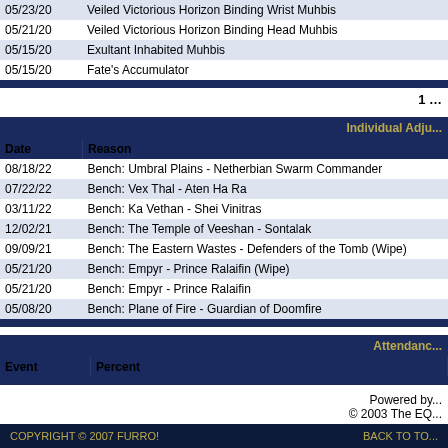| Date | Reason |
| --- | --- |
| 05/23/20 | Veiled Victorious Horizon Binding Wrist Muhbis | Pl... |
| 05/21/20 | Veiled Victorious Horizon Binding Head Muhbis | Em... |
| 05/15/20 | Exultant Inhabited Muhbis | Em... |
| 05/15/20 | Fate's Accumulator | Em... |
1 ...
Individual Adj...
| Date | Reason |
| --- | --- |
| 08/18/22 | Bench: Umbral Plains - Netherbian Swarm Commander |
| 07/22/22 | Bench: Vex Thal - Aten Ha Ra |
| 03/11/22 | Bench: Ka Vethan - Shei Vinitras |
| 12/02/21 | Bench: The Temple of Veeshan - Sontalak |
| 09/09/21 | Bench: The Eastern Wastes - Defenders of the Tomb (Wipe) |
| 05/21/20 | Bench: Empyr - Prince Ralaifin (Wipe) |
| 05/21/20 | Bench: Empyr - Prince Ralaifin |
| 05/08/20 | Bench: Plane of Fire - Guardian of Doomfire |
Attendance...
| Event | Percent |
| --- | --- |
Powered by...
© 2003 The EQ...
COPYRIGHT © 2007 FURRO!    BACK TO TO...